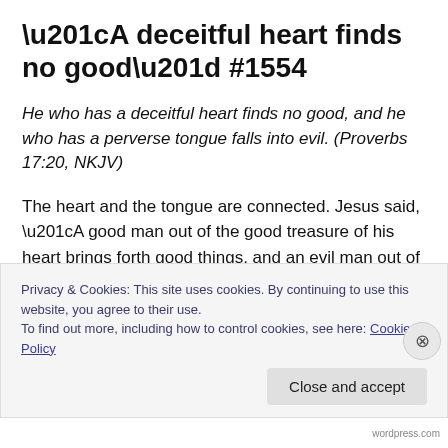“A deceitful heart finds no good” #1554
He who has a deceitful heart finds no good, and he who has a perverse tongue falls into evil. (Proverbs 17:20, NKJV)
The heart and the tongue are connected. Jesus said, “A good man out of the good treasure of his heart brings forth good things, and an evil man out of the evil treasure brings
Privacy & Cookies: This site uses cookies. By continuing to use this website, you agree to their use.
To find out more, including how to control cookies, see here: Cookie Policy
Close and accept